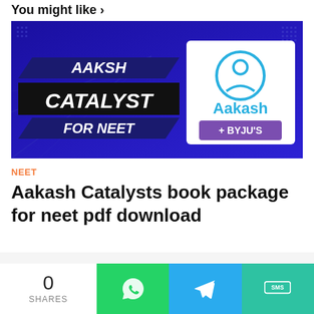You might like >
[Figure (illustration): Aakash Catalyst for NEET promotional banner with blue background, showing 'AAKSH CATALYST FOR NEET' text on left and Aakash + BYJU'S logo on right]
NEET
Aakash Catalysts book package for neet pdf download
0 SHARES | WhatsApp | Telegram | SMS